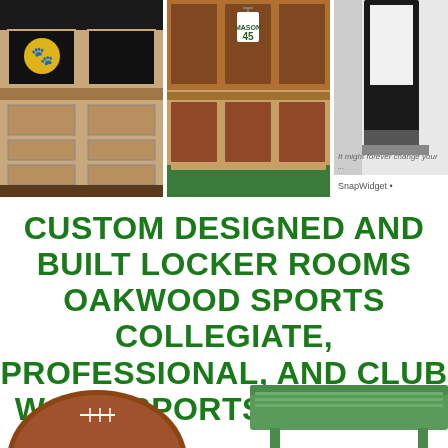[Figure (photo): Locker room with black padded seat and bulldog mascot logo, wooden locker unit]
[Figure (photo): Wooden locker room cubicles with white basketball jersey number 45 hanging inside]
[Figure (photo): Partial view of dark locker with white interior/padding and text 'It might forever change your...' below]
SnapWidget •
CUSTOM DESIGNED AND BUILT LOCKER ROOMS OAKWOOD SPORTS COLLEGIATE, PROFESSIONAL, AND CLUB WOOD SPORTS LOCKERS
[Figure (photo): Football (brown) bottom portion visible at lower left]
[Figure (photo): Green locker/bench unit visible at lower right]